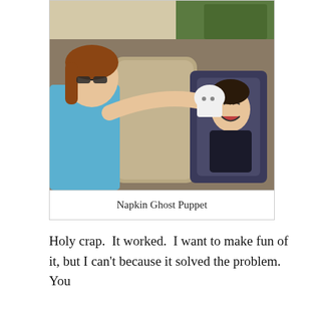[Figure (photo): A woman wearing sunglasses reaches over a car seat with a white napkin/cloth, entertaining a laughing baby in a car seat. The scene is inside a vehicle.]
Napkin Ghost Puppet
Holy crap.  It worked.  I want to make fun of it, but I can't because it solved the problem.  You